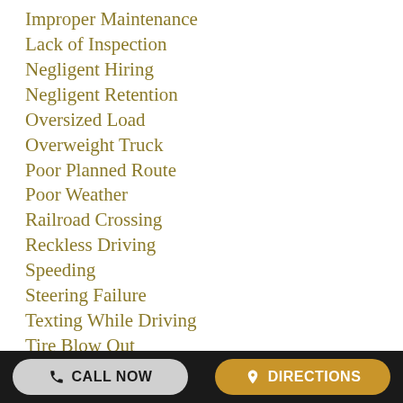Improper Maintenance
Lack of Inspection
Negligent Hiring
Negligent Retention
Oversized Load
Overweight Truck
Poor Planned Route
Poor Weather
Railroad Crossing
Reckless Driving
Speeding
Steering Failure
Texting While Driving
Tire Blow Out
Tow Hitch Defect
Unrealistic Schedule
Houston Type of Accident Truck Lawyer Links
Blind Spot
CALL NOW | DIRECTIONS